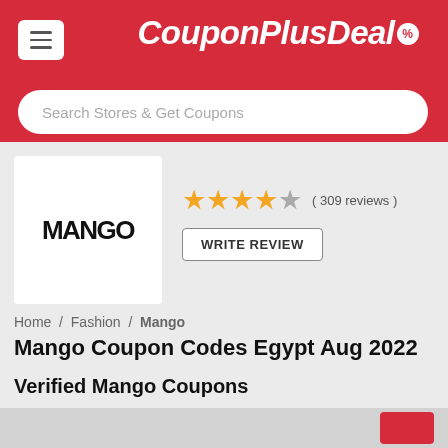CouponPlusDeal
Search Stores & Get Coupons
[Figure (logo): MANGO store logo in black bold text on white square background]
★★★★☆ ( 309 reviews )
WRITE REVIEW
Home / Fashion / Mango
Mango Coupon Codes Egypt Aug 2022
Verified Mango Coupons